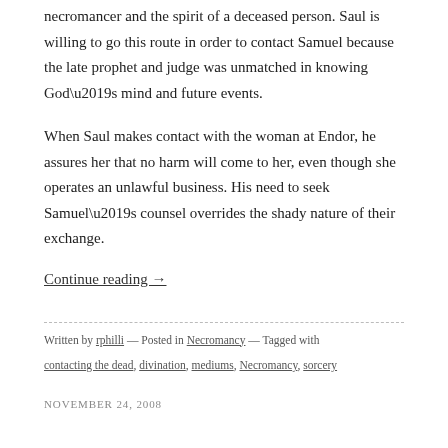necromancer and the spirit of a deceased person. Saul is willing to go this route in order to contact Samuel because the late prophet and judge was unmatched in knowing God’s mind and future events.
When Saul makes contact with the woman at Endor, he assures her that no harm will come to her, even though she operates an unlawful business. His need to seek Samuel’s counsel overrides the shady nature of their exchange.
Continue reading →
Written by rphilli — Posted in Necromancy — Tagged with contacting the dead, divination, mediums, Necromancy, sorcery
NOVEMBER 24, 2008